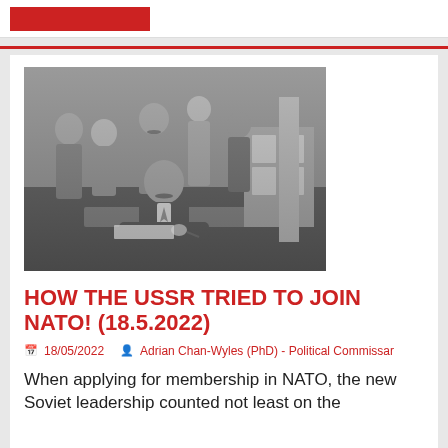[Figure (photo): Black and white historical photograph showing several men, one seated at a desk signing a document while others stand behind him in formal and military attire.]
HOW THE USSR TRIED TO JOIN NATO! (18.5.2022)
18/05/2022   Adrian Chan-Wyles (PhD) - Political Commissar
When applying for membership in NATO, the new Soviet leadership counted not least on the